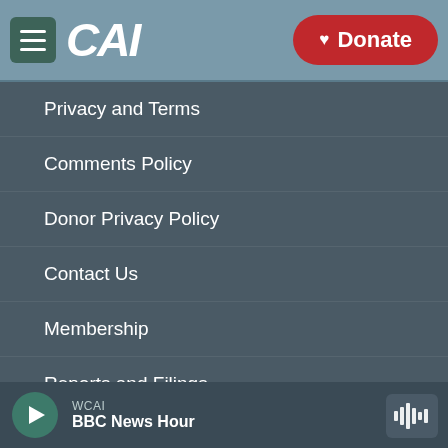CAI navigation header with hamburger menu, CAI logo, and Donate button
Privacy and Terms
Comments Policy
Donor Privacy Policy
Contact Us
Membership
Reports and Filings
Employment
Sonics: Community Voices
WCAI BBC News Hour player bar